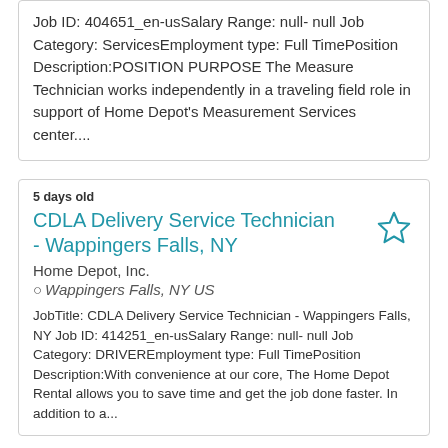Job ID: 404651_en-usSalary Range: null- null Job Category: ServicesEmployment type: Full TimePosition Description:POSITION PURPOSE The Measure Technician works independently in a traveling field role in support of Home Depot's Measurement Services center....
5 days old
CDLA Delivery Service Technician - Wappingers Falls, NY
Home Depot, Inc.
Wappingers Falls, NY US
JobTitle: CDLA Delivery Service Technician - Wappingers Falls, NY Job ID: 414251_en-usSalary Range: null- null Job Category: DRIVEREmployment type: Full TimePosition Description:With convenience at our core, The Home Depot Rental allows you to save time and get the job done faster. In addition to a...